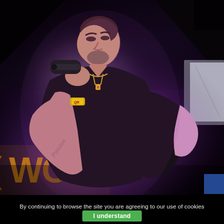[Figure (photo): A man performing on stage, singing into a black microphone held close to his mouth. He is wearing a black t-shirt, has a gold chain necklace with a pendant, a yellow wristband, and visible tattoos on his forearm. The stage background is dark with purple lighting and orange signage letters visible at the bottom left. A partial white banner is visible at the upper right.]
By continuing to browse the site you are agreeing to our use of cookies
I understand